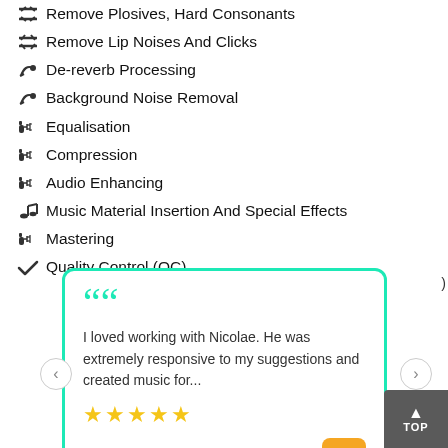Remove Plosives, Hard Consonants
Remove Lip Noises And Clicks
De-reverb Processing
Background Noise Removal
Equalisation
Compression
Audio Enhancing
Music Material Insertion And Special Effects
Mastering
Quality Control (QC)
[Figure (other): Customer review card with quote from Jodi Krangle: 'I loved working with Nicolae. He was extremely responsive to my suggestions and created music for...' with 4 stars and JK avatar badge, navigation arrows, and TOP button]